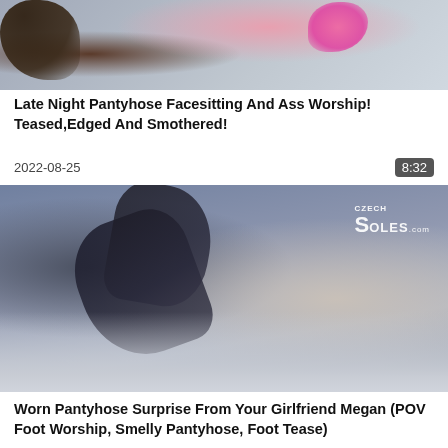[Figure (photo): Top partial image of a bed scene with pink and dark colors visible]
Late Night Pantyhose Facesitting And Ass Worship! Teased,Edged And Smothered!
2022-08-25
8:32
[Figure (photo): Woman lying on a sofa wearing dark pantyhose/stockings and a black top, with CzechSoles.com watermark in top right]
Worn Pantyhose Surprise From Your Girlfriend Megan (POV Foot Worship, Smelly Pantyhose, Foot Tease)